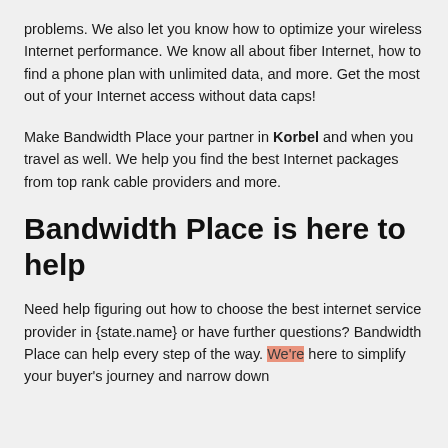problems. We also let you know how to optimize your wireless Internet performance. We know all about fiber Internet, how to find a phone plan with unlimited data, and more. Get the most out of your Internet access without data caps!
Make Bandwidth Place your partner in Korbel and when you travel as well. We help you find the best Internet packages from top rank cable providers and more.
Bandwidth Place is here to help
Need help figuring out how to choose the best internet service provider in {state.name} or have further questions? Bandwidth Place can help every step of the way. We're here to simplify your buyer's journey and narrow down